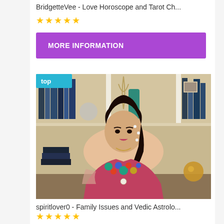BridgetteVee - Love Horoscope and Tarot Ch...
[Figure (other): Five gold star rating icons]
[Figure (other): Purple 'MORE INFORMATION' button with close X]
[Figure (photo): Photo of a woman in colorful embroidered clothing sitting in front of a white bookshelf with books and decor. A blue 'top' badge overlays the top-left corner of the image.]
spiritlover0 - Family Issues and Vedic Astrolo...
[Figure (other): Five gold star rating icons]